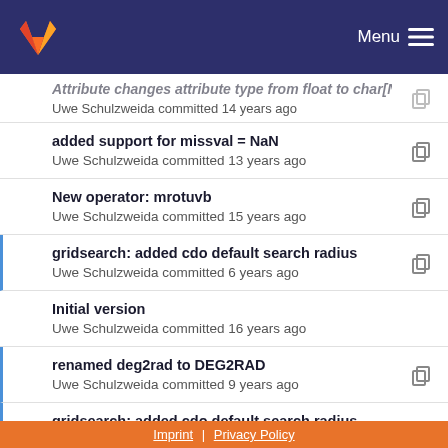GitLab — Menu
Uwe Schulzweida committed 14 years ago
added support for missval = NaN — Uwe Schulzweida committed 13 years ago
New operator: mrotuvb — Uwe Schulzweida committed 15 years ago
gridsearch: added cdo default search radius — Uwe Schulzweida committed 6 years ago
Initial version — Uwe Schulzweida committed 16 years ago
renamed deg2rad to DEG2RAD — Uwe Schulzweida committed 9 years ago
gridsearch: added cdo default search radius — Uwe Schulzweida committed 6 years ago
New operator: mrotuvb
Imprint | Privacy Policy